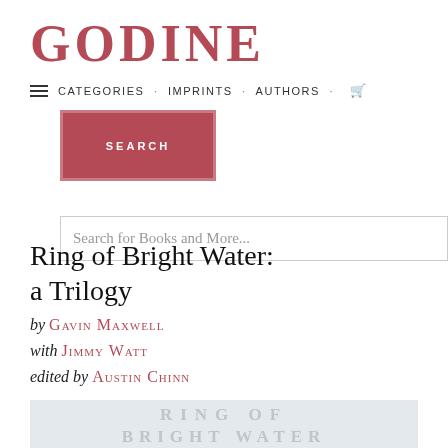GODINE
CATEGORIES · IMPRINTS · AUTHORS ·
[Figure (screenshot): Search input box with placeholder text 'Search for Books and More...' and a dark red SEARCH button below]
Ring of Bright Water: a Trilogy
by Gavin Maxwell
with Jimmy Watt
edited by Austin Chinn
[Figure (photo): Book cover showing 'RING OF BRIGHT WATER' text in faded gray on a light blue-gray background]